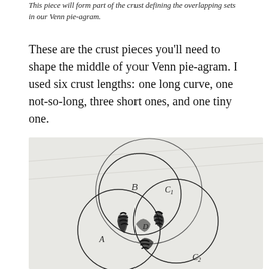This piece will form part of the crust defining the overlapping sets in our Venn pie-agram.
These are the crust pieces you'll need to shape the middle of your Venn pie-agram. I used six crust lengths: one long curve, one not-so-long, three short ones, and one tiny one.
[Figure (illustration): A hand-drawn sketch on white paper showing three overlapping circles forming a Venn diagram. The circles are labeled B (top), C1 (top right), A (bottom left), C2 (bottom right), and D (center overlap). The intersections are heavily shaded with pen marks indicating the crust pieces.]